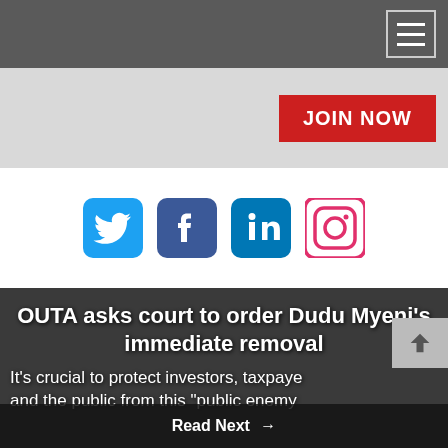Navigation bar with hamburger menu icon
[Figure (screenshot): JOIN NOW red button on grey bar]
[Figure (infographic): Social media icons: Twitter, Facebook, LinkedIn, Instagram]
OUTA asks court to order Dudu Myeni's immediate removal
It's crucial to protect investors, taxpayers and the public from this "public enemy"
Read Next →